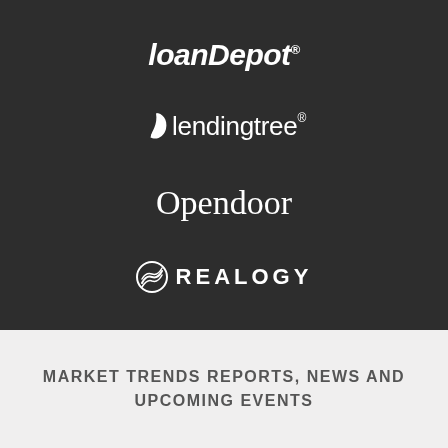[Figure (logo): loanDepot logo in white italic bold text on dark background]
[Figure (logo): LendingTree logo with leaf icon in white text on dark background]
[Figure (logo): Opendoor logo in white serif text on dark background]
[Figure (logo): Realogy logo with wave/lines icon in white text on dark background]
MARKET TRENDS REPORTS, NEWS AND UPCOMING EVENTS